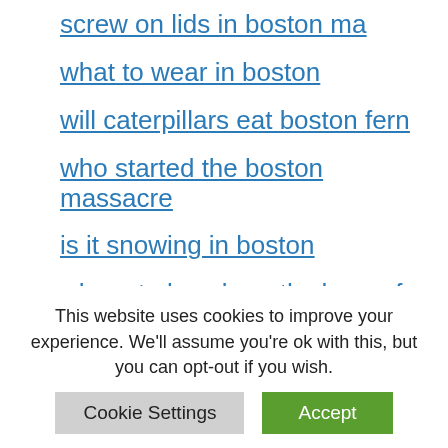screw on lids in boston ma
what to wear in boston
will caterpillars eat boston fern
who started the boston massacre
is it snowing in boston
where to kayak north shore of boston
how much does it cost to ride the t in boston
when does the boston college bowl
This website uses cookies to improve your experience. We'll assume you're ok with this, but you can opt-out if you wish.
Cookie Settings | Accept